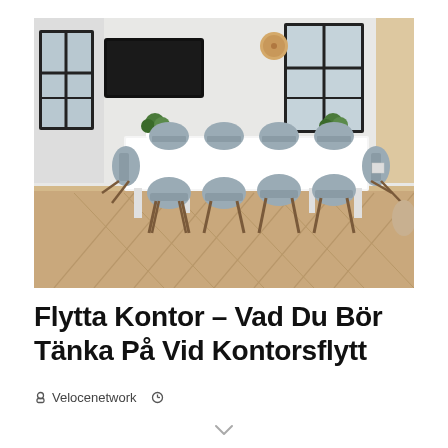[Figure (photo): Modern office meeting room with a large white rectangular table, grey chairs with wooden legs, black-framed windows, herringbone wood floor, and a wall-mounted TV screen.]
Flytta Kontor – Vad Du Bör Tänka På Vid Kontorsflytt
Velocenetwork